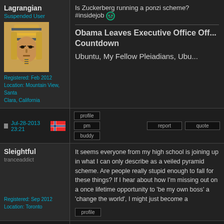Lagrangian
Suspended User
[Figure (photo): Avatar image of Egyptian pharaoh mask (Tutankhamun style)]
Registered: Feb 2012
Location: Mountain View, Santa Clara, California
Is Zuckerberg running a ponzi scheme? #insidejob 😐
Obama Leaves Executive Office Off... Countdown
Ubuntu, My Fellow Pleiadians, Ubu...
Jul-28-2013 23:21
profile
pm
report
quote
buddy
Sleightful
tranceaddict
Registered: Sep 2012
Location: Toronto
It seems everyone from my high school is joining up in what I can only describe as a veiled pyramid scheme. Are people really stupid enough to fall for these things? If I hear about how I'm missing out on a once lifetime opportunity to 'be my own boss' a 'change the world', I might just become a
profile
pm
report
quote
Jul-28-2013 23:39